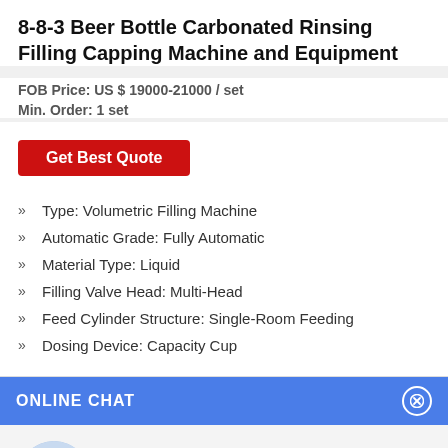8-8-3 Beer Bottle Carbonated Rinsing Filling Capping Machine and Equipment
FOB Price: US $ 19000-21000 / set
Min. Order: 1 set
Get Best Quote
Type: Volumetric Filling Machine
Automatic Grade: Fully Automatic
Material Type: Liquid
Filling Valve Head: Multi-Head
Feed Cylinder Structure: Single-Room Feeding
Dosing Device: Capacity Cup
ONLINE CHAT
[Figure (photo): Avatar of a female customer service agent named Cilina]
Hi,welcome to visit our website.
Cilina